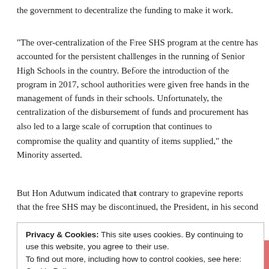the government to decentralize the funding to make it work.
“The over-centralization of the Free SHS program at the centre has accounted for the persistent challenges in the running of Senior High Schools in the country. Before the introduction of the program in 2017, school authorities were given free hands in the management of funds in their schools. Unfortunately, the centralization of the disbursement of funds and procurement has also led to a large scale of corruption that continues to compromise the quality and quantity of items supplied,” the Minority asserted.
But Hon Adutwum indicated that contrary to grapevine reports that the free SHS may be discontinued, the President, in his second
Privacy & Cookies: This site uses cookies. By continuing to use this website, you agree to their use.
To find out more, including how to control cookies, see here: Cookie Policy
also pays all utility bills of the various schools and does much more